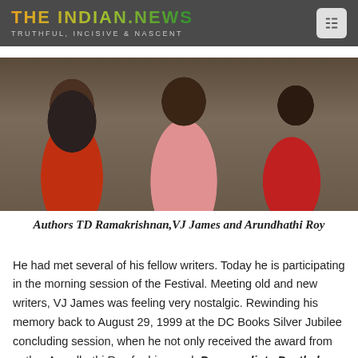THE INDIAN.NEWS — TRUTHFUL, INCISIVE & NASCENT
[Figure (photo): Three people posing together at a literary festival: Authors TD Ramakrishnan, VJ James and Arundhathi Roy]
Authors TD Ramakrishnan,VJ James and Arundhathi Roy
He had met several of his fellow writers. Today he is participating in the morning session of the Festival. Meeting old and new writers, VJ James was feeling very nostalgic. Rewinding his memory back to August 29, 1999 at the DC Books Silver Jubilee concluding session, when he not only received the award from author Arundhathi Roy for his novel, Puranpadinte Pusthakam, his joy knew no bound. VJ James